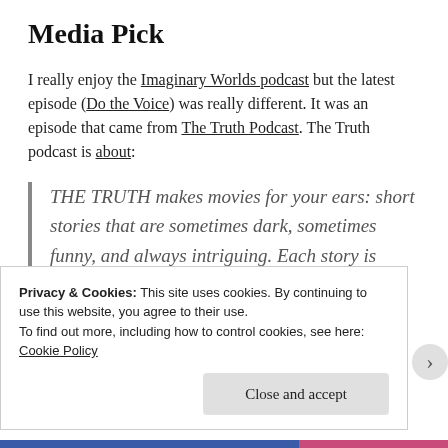Media Pick
I really enjoy the Imaginary Worlds podcast but the latest episode (Do the Voice) was really different. It was an episode that came from The Truth Podcast. The Truth podcast is about:
THE TRUTH makes movies for your ears: short stories that are sometimes dark, sometimes funny, and always intriguing. Each story is different, and usually 10 to 20
Privacy & Cookies: This site uses cookies. By continuing to use this website, you agree to their use.
To find out more, including how to control cookies, see here: Cookie Policy
Close and accept